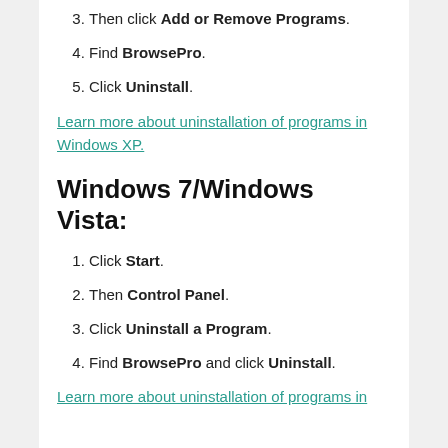3. Then click Add or Remove Programs.
4. Find BrowsePro.
5. Click Uninstall.
Learn more about uninstallation of programs in Windows XP.
Windows 7/Windows Vista:
1. Click Start.
2. Then Control Panel.
3. Click Uninstall a Program.
4. Find BrowsePro and click Uninstall.
Learn more about uninstallation of programs in